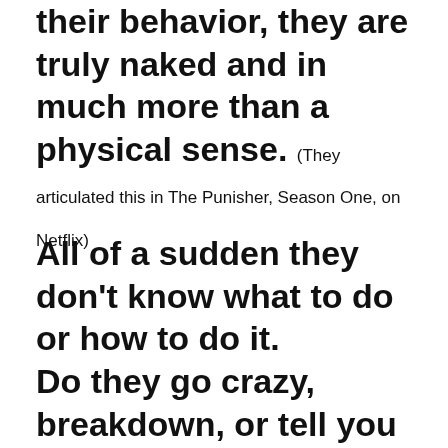their behavior, they are truly naked and in much more than a physical sense. (They articulated this in The Punisher, Season One, on Netflix)
All of a sudden they don't know what to do or how to do it.
Do they go crazy, breakdown, or tell you everything you want to know.